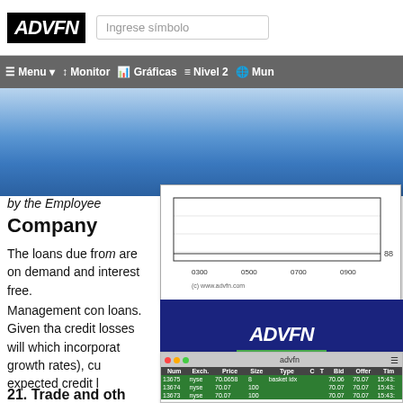ADVFN – Ingrese símbolo
Menu | Monitor | Gráficas | Nivel 2 | Mun
[Figure (screenshot): ADVFN website screenshot showing navigation bar with logo, search box and menu items including Monitor, Gráficas, Nivel 2]
by the Employee
Company
The loans due from are on demand and interest free.
Management con loans. Given that credit losses will which incorporate growth rates), cu expected credit lo
[Figure (screenshot): ADVFN stock chart popup showing price line chart with x-axis times 0300, 0500, 0700, 0900 and value 88, watermark (c) www.advfn.com]
[Figure (screenshot): ADVFN Operaciones popup with dark blue background, ADVFN logo and trade table showing Num, Exch, Price, Size, Type, C, T, Bid, Offer, Time columns with green rows of trade data]
21. Trade and oth